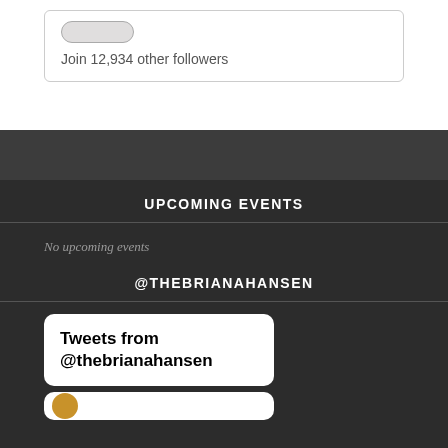Join 12,934 other followers
UPCOMING EVENTS
No upcoming events
@THEBRIANAHANSEN
Tweets from @thebrianahansen